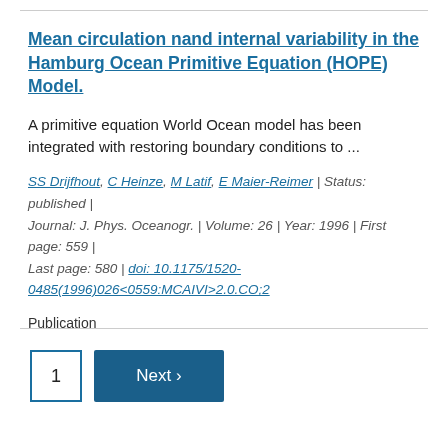Mean circulation nand internal variability in the Hamburg Ocean Primitive Equation (HOPE) Model.
A primitive equation World Ocean model has been integrated with restoring boundary conditions to ...
SS Drijfhout, C Heinze, M Latif, E Maier-Reimer | Status: published | Journal: J. Phys. Oceanogr. | Volume: 26 | Year: 1996 | First page: 559 | Last page: 580 | doi: 10.1175/1520-0485(1996)026<0559:MCAIVI>2.0.CO;2
Publication